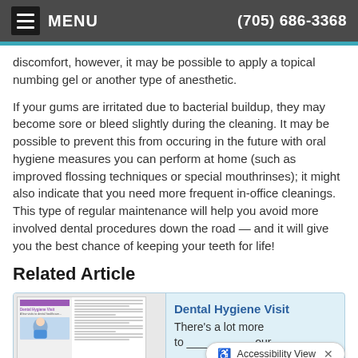MENU  (705) 686-3368
discomfort, however, it may be possible to apply a topical numbing gel or another type of anesthetic.
If your gums are irritated due to bacterial buildup, they may become sore or bleed slightly during the cleaning. It may be possible to prevent this from occuring in the future with oral hygiene measures you can perform at home (such as improved flossing techniques or special mouthrinses); it might also indicate that you need more frequent in-office cleanings. This type of regular maintenance will help you avoid more involved dental procedures down the road — and it will give you the best chance of keeping your teeth for life!
Related Article
[Figure (screenshot): Related article card showing a thumbnail of a Dental Hygiene Visit magazine article page, with the article title 'Dental Hygiene Visit' in blue and the description 'There's a lot more ... our' in gray text. An Accessibility View button bar is visible at the bottom.]